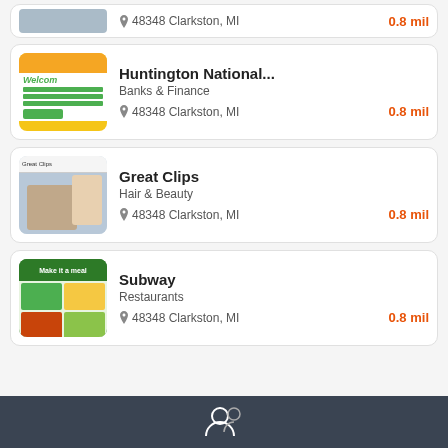48348 Clarkston, MI — 0.8 mil (partial top card)
Huntington National... | Banks & Finance | 48348 Clarkston, MI | 0.8 mil
Great Clips | Hair & Beauty | 48348 Clarkston, MI | 0.8 mil
Subway | Restaurants | 48348 Clarkston, MI | 0.8 mil